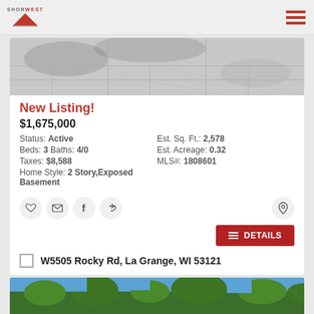Shorewest logo and hamburger menu
[Figure (photo): Aerial or ground-level property photo showing stone/concrete surface with shadows]
New Listing!
$1,675,000
Status: Active   Est. Sq. Ft.: 2,578
Beds: 3 Baths: 4/0   Est. Acreage: 0.32
Taxes: $8,588   MLS#: 1808601
Home Style: 2 Story,Exposed Basement
[Figure (infographic): Row of action icon buttons (heart, email, facebook, share) and location pin icon, plus red DETAILS button]
W5505 Rocky Rd, La Grange, WI 53121
[Figure (photo): Property exterior photo showing trees and blue sky]